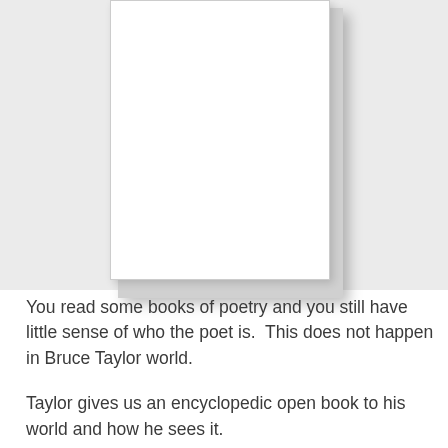[Figure (illustration): A blank white book cover displayed against a light gray background, positioned in the upper portion of the page, with a shadow effect suggesting a physical book.]
You read some books of poetry and you still have little sense of who the poet is.  This does not happen in Bruce Taylor world.
Taylor gives us an encyclopedic open book to his world and how he sees it.